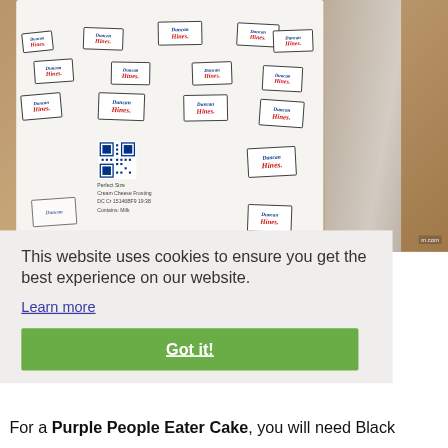[Figure (photo): Close-up photo of a Duncan Hines Perfect Size Cream Cheese Frosting packet laid flat, showing multiple Duncan Hines logos repeated across the white packet surface, with a QR code and text reading 'Perfect Size Cream Cheese Frosting DC Cr 15146BF9 19:38 Contains: Milk'. A clear plastic bag is visible to the right.]
This website uses cookies to ensure you get the best experience on our website.
Learn more
Got it!
For a Purple People Eater Cake, you will need Black